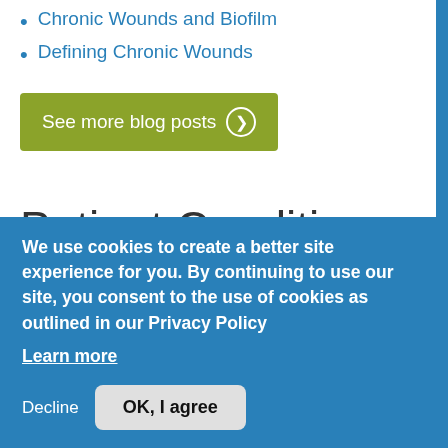Chronic Wounds and Biofilm
Defining Chronic Wounds
See more blog posts ❯
Patient Conditions
Arterial Ulcers
At-Risk Patient: Diabetic Foot Ulcers
At-Risk Patient: Pressure Ulcers/Injuries
We use cookies to create a better site experience for you. By continuing to use our site, you consent to the use of cookies as outlined in our Privacy Policy
Learn more
Decline  OK, I agree